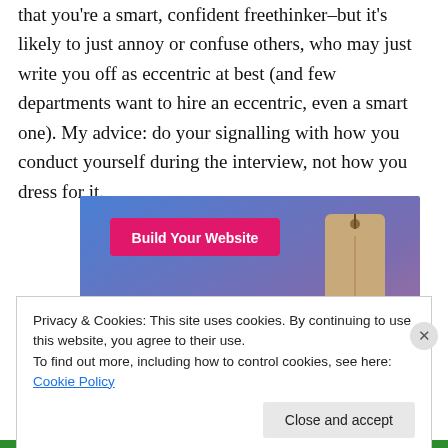that you're a smart, confident freethinker–but it's likely to just annoy or confuse others, who may just write you off as eccentric at best (and few departments want to hire an eccentric, even a smart one). My advice: do your signalling with how you conduct yourself during the interview, not how you dress for it.
[Figure (screenshot): Advertisement banner with blue-to-purple gradient background, a pink 'Build Your Website' button on the left, and a tan/beige price tag graphic on the right.]
Privacy & Cookies: This site uses cookies. By continuing to use this website, you agree to their use.
To find out more, including how to control cookies, see here: Cookie Policy